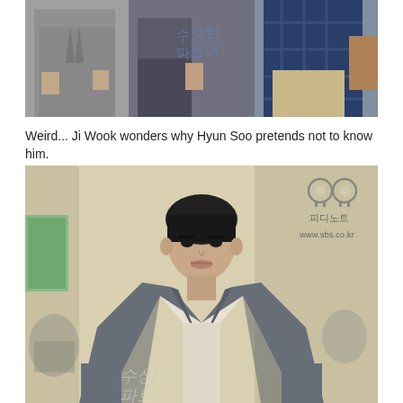[Figure (photo): Top photo showing three people from the torso/waist down — left person in grey suit, center person in dark jacket with Korean text watermark visible, right person in blue plaid shirt with khaki pants. Korean drama promotional still.]
Weird... Ji Wook wonders why Hyun Soo pretends not to know him.
[Figure (photo): Portrait photo of a young Korean man in a grey blazer over white shirt, looking forward with a serious/surprised expression. A watermark logo (two circles like eyes) with Korean text '피디노트' and 'www.sbs.co.kr' appears in the upper right. Korean drama still.]